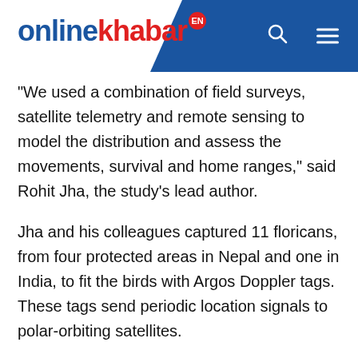onlinekhabar EN
“We used a combination of field surveys, satellite telemetry and remote sensing to model the distribution and assess the movements, survival and home ranges,” said Rohit Jha, the study's lead author.
Jha and his colleagues captured 11 floricans, from four protected areas in Nepal and one in India, to fit the birds with Argos Doppler tags. These tags send periodic location signals to polar-orbiting satellites.
They also conducted field surveys in both countries and used the results to develop